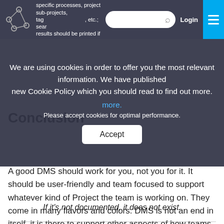documents related to specific processes, projects, sub-projects, tags, etc.; search results should be printed if required.
[Figure (screenshot): Cookie consent overlay on a dark semi-transparent background with text: We are using cookies in order to offer you the most relevant information. We have published new Cookie Policy which you should read to find out more. / Please accept cookies for optimal performance. Accept button.]
Conclusion
A good DMS should work for you, not you for it. It should be user-friendly and team focused to support whatever kind of Project the team is working on. They come in many flavors and colors. DMS is not an end in itself, it is there to support other aspects of how teams work and the tools they use to get that done.
If it's not documented, it does not exist.